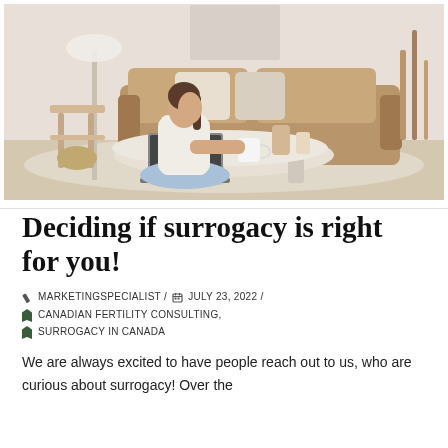[Figure (photo): Woman with dark hair in white shirt sitting cross-legged on floor in front of a beige sofa, working on a laptop at a round white coffee table with a mug, vase, and cup holder. Bright, minimal Scandinavian-style living room with a floor lamp and dried grass decoration.]
Deciding if surrogacy is right for you!
MARKETINGSPECIALIST / JULY 23, 2022 / CANADIAN FERTILITY CONSULTING, SURROGACY IN CANADA
We are always excited to have people reach out to us, who are curious about surrogacy! Over the